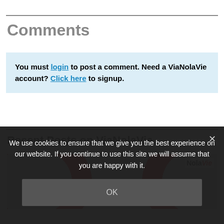Comments
You must login to post a comment. Need a ViaNolaVie account? Click here to signup.
Recent Posts on ViaNolaVie
[Figure (photo): Circular red and grey graphic with NolαVie logo in top right corner]
We use cookies to ensure that we give you the best experience on our website. If you continue to use this site we will assume that you are happy with it.
OK